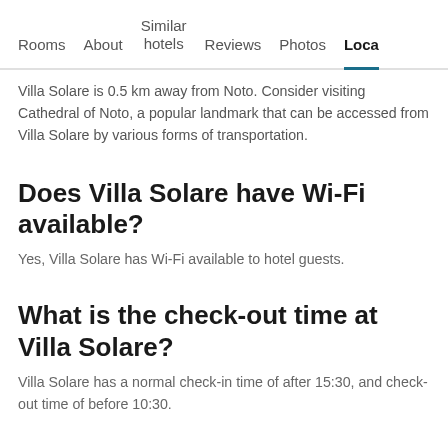Rooms | About | Similar hotels | Reviews | Photos | Loca...
Villa Solare is 0.5 km away from Noto. Consider visiting Cathedral of Noto, a popular landmark that can be accessed from Villa Solare by various forms of transportation.
Does Villa Solare have Wi-Fi available?
Yes, Villa Solare has Wi-Fi available to hotel guests.
What is the check-out time at Villa Solare?
Villa Solare has a normal check-in time of after 15:30, and check-out time of before 10:30.
How much does it cost to stay at Villa Solare, Noto?
$105 per night is the best price found recently for a room at Villa...